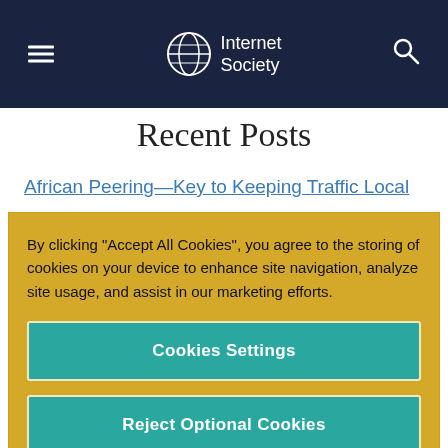Internet Society
Recent Posts
African Peering—Key to Keeping Traffic Local
Exploring Digital Sovereignty
By clicking “Accept All Cookies”, you agree to the storing of cookies on your device to enhance site navigation, analyze site usage, and assist in our marketing efforts.
Cookies Settings
Reject Optional Cookies
Accept All Cookies